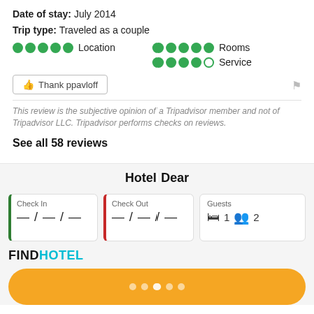Date of stay: July 2014
Trip type: Traveled as a couple
[Figure (infographic): Rating dots for Location (5 filled green circles), Rooms (5 filled green circles), Service (4 filled green circles, 1 empty circle)]
Thank ppavloff
This review is the subjective opinion of a Tripadvisor member and not of Tripadvisor LLC. Tripadvisor performs checks on reviews.
See all 58 reviews
Hotel Dear
Check In — / — / —
Check Out — / — / —
Guests 1 2
[Figure (logo): FINDHOTEL logo in black and teal]
[Figure (infographic): Yellow rounded button with white navigation dots]